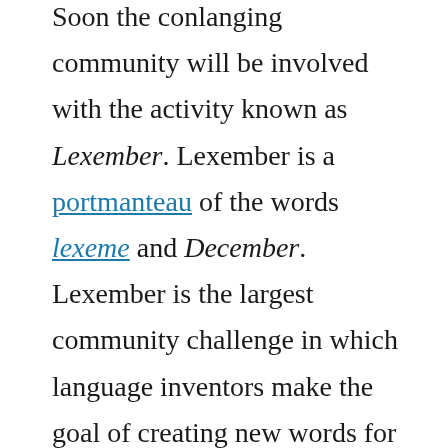Soon the conlanging community will be involved with the activity known as Lexember. Lexember is a portmanteau of the words lexeme and December. Lexember is the largest community challenge in which language inventors make the goal of creating new words for their language(s). The intent is to make at least one word each day during the month of December.
The past two years have been a blur for me, so I hope that I will have the time this year to